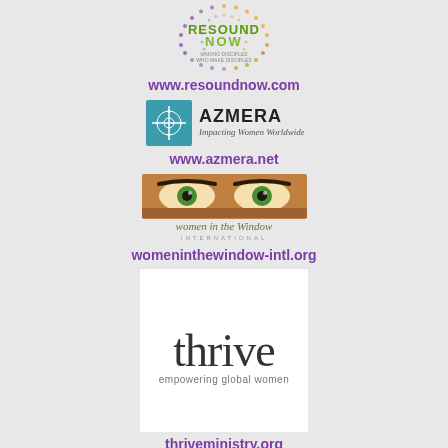[Figure (logo): ResoundNow logo - circular dotted design with green and orange text]
www.resoundnow.com
[Figure (logo): Azmera logo - teal square with cross/compass design, text 'AZMERA Impacting Women Worldwide']
www.azmera.net
[Figure (logo): Women in the Window International logo - close-up of eyes with green irises, cursive text below]
womeninthewindow-intl.org
[Figure (logo): Thrive - empowering global women logo, white box with dark text]
thriveministry.org
[Figure (logo): Globe/sphere logo with dark blue and white design, swoosh element]